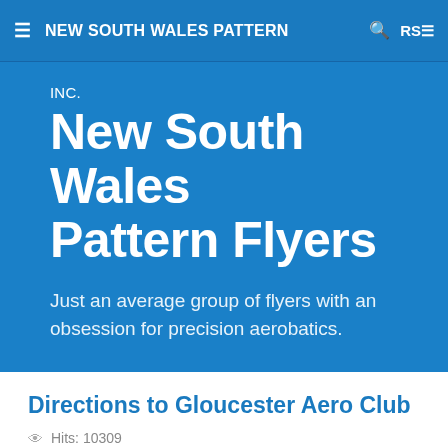≡  NEW SOUTH WALES PATTERN  🔍  RS≡
INC.
New South Wales Pattern Flyers
Just an average group of flyers with an obsession for precision aerobatics.
Directions to Gloucester Aero Club
Hits: 10309